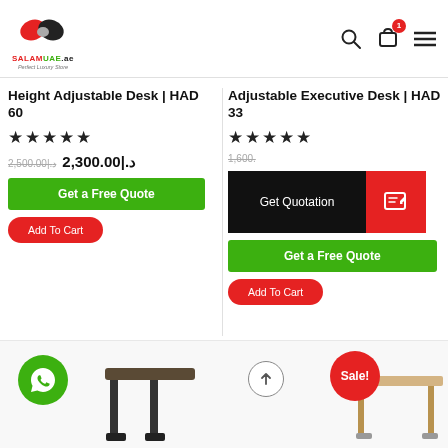[Figure (logo): SALAMUAE.ae logo with handshake icon, tagline Perfect Luxury Store]
[Figure (screenshot): Navigation icons: search, cart with badge 1, hamburger menu]
Height Adjustable Desk | HAD 60
★★★★★
2,500.00|.د (strikethrough) 2,300.00|.د
Get a Free Quote
Add To Cart
Adjustable Executive Desk | HAD 33
★★★★★
1,600... (strikethrough)
Get Quotation
Get a Free Quote
Add To Cart
[Figure (photo): Partial image of height-adjustable desk (dark wood/black) visible at bottom left]
[Figure (photo): Partial image of adjustable desk (light wood) with Sale! badge, visible at bottom right]
[Figure (illustration): WhatsApp button (green circle), scroll-to-top button (circle with arrow)]